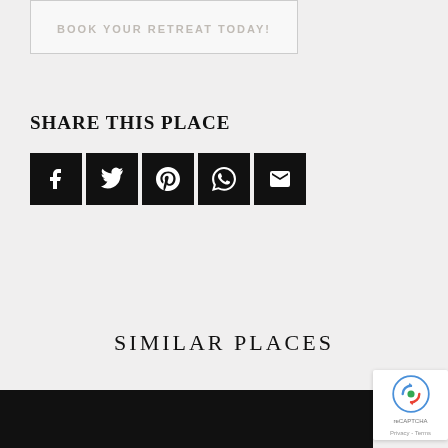BOOK YOUR RETREAT TODAY!
SHARE THIS PLACE
[Figure (other): Social sharing icons: Facebook, Twitter, Pinterest, WhatsApp, Email — each as white icon on black square background]
SIMILAR PLACES
[Figure (other): reCAPTCHA badge with Google logo and Privacy - Terms links]